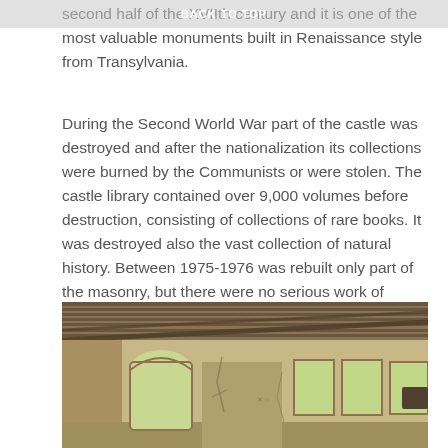second half of the XVIIth century and it is one of the most valuable monuments built in Renaissance style from Transylvania.
BACK TO TOP
During the Second World War part of the castle was destroyed and after the nationalization its collections were burned by the Communists or were stolen. The castle library contained over 9,000 volumes before destruction, consisting of collections of rare books. It was destroyed also the vast collection of natural history. Between 1975-1976 was rebuilt only part of the masonry, but there were no serious work of restoration and the castle is now in ruins.
[Figure (photo): Interior of a ruined castle room showing a deteriorating wooden beam ceiling, cracked plaster walls with arched and rectangular windows letting in natural light, and graffiti on the walls.]